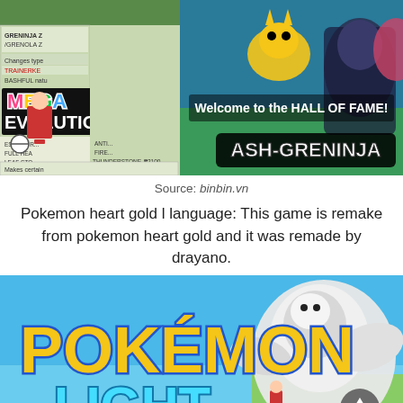[Figure (screenshot): Composite screenshot of Pokemon game showing Mega Evolution screen on left and Hall of Fame screen with Ash-Greninja on right]
Source: binbin.vn
Pokemon heart gold l language: This game is remake from pokemon heart gold and it was remade by drayano.
[Figure (screenshot): Pokemon Light game title screen showing large Pokemon logo with 'POKÉMON LIGHT' text and Arceus character on right]